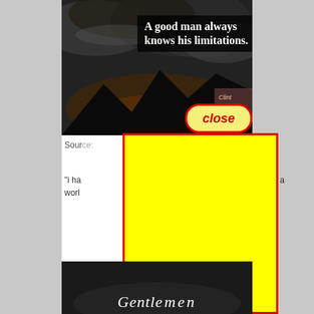[Figure (screenshot): A mobile screenshot showing a motivational quote overlay on a stormy dark sky image. Quote reads 'A good man always knows his limitations.' attributed to Clint Eastwood, with a yellow 'close' button. Below is a large yellow advertisement overlay partially covering page content. Partial text 'Sour' and '"i ha...n a worl' visible. Bottom shows another dark image with partial text 'Gentl...' in white cursive.]